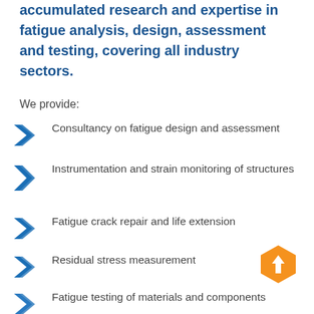accumulated research and expertise in fatigue analysis, design, assessment and testing, covering all industry sectors.
We provide:
Consultancy on fatigue design and assessment
Instrumentation and strain monitoring of structures
Fatigue crack repair and life extension
Residual stress measurement
Fatigue testing of materials and components
[Figure (illustration): Orange hexagon with white upward arrow icon in bottom-right area]